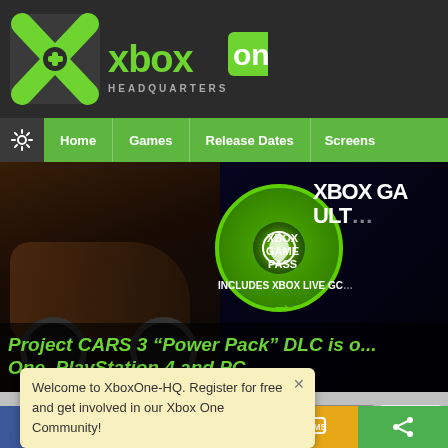[Figure (logo): Xbox One Headquarters logo — green X with controller icon and site name in green/white text on dark background]
Home | Games | Release Dates | Screens
[Figure (screenshot): Xbox Game Pass Ultimate promotional banner with racing car image on left and Xbox Game Pass branding on right, includes text 'XBOX GAME PASS', 'XBOX GA... ULT...' and 'INCLUDES XBOX LIVE GC...']
Project CARS 3 “Power Pack” DLC is o... One, PlayStation 4 and PC
Welcome to XboxOne-HQ. Register for free and get involved in our Xbox One Community!
Achievements | News